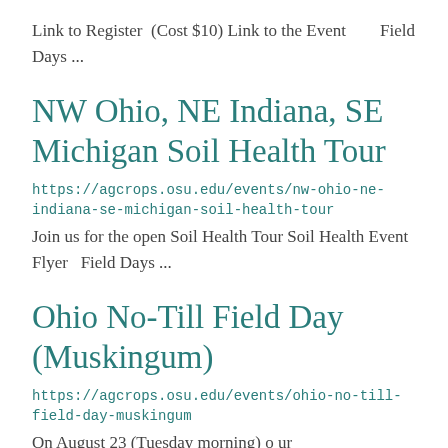Link to Register  (Cost $10) Link to the Event        Field Days ...
NW Ohio, NE Indiana, SE Michigan Soil Health Tour
https://agcrops.osu.edu/events/nw-ohio-ne-indiana-se-michigan-soil-health-tour
Join us for the open Soil Health Tour Soil Health Event Flyer  Field Days ...
Ohio No-Till Field Day (Muskingum)
https://agcrops.osu.edu/events/ohio-no-till-field-day-muskingum
On August 23 (Tuesday morning) o ur